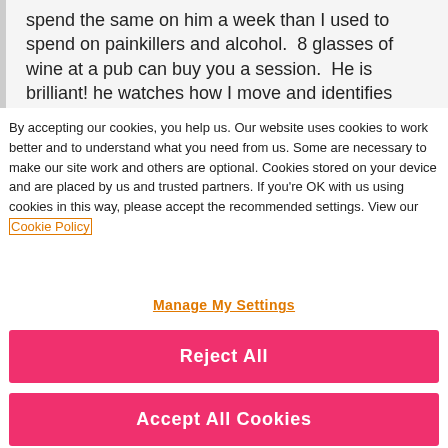spend the same on him a week than I used to spend on painkillers and alcohol.  8 glasses of wine at a pub can buy you a session.  He is brilliant! he watches how I move and identifies
By accepting our cookies, you help us. Our website uses cookies to work better and to understand what you need from us. Some are necessary to make our site work and others are optional. Cookies stored on your device and are placed by us and trusted partners. If you're OK with us using cookies in this way, please accept the recommended settings. View our Cookie Policy
Manage My Settings
Reject All
Accept All Cookies